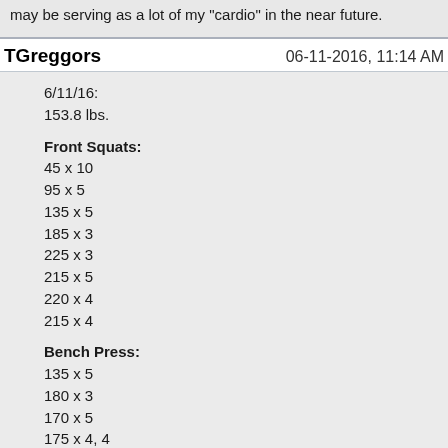may be serving as a lot of my "cardio" in the near future.
TGreggors
06-11-2016, 11:14 AM
6/11/16:
153.8 lbs.

Front Squats:
45 x 10
95 x 5
135 x 5
185 x 3
225 x 3
215 x 5
220 x 4
215 x 4

Bench Press:
135 x 5
180 x 3
170 x 5
175 x 4, 4

Deadlift:
275 x 2